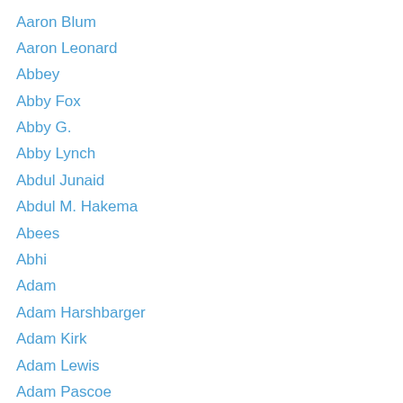Aaron Blum
Aaron Leonard
Abbey
Abby Fox
Abby G.
Abby Lynch
Abdul Junaid
Abdul M. Hakema
Abees
Abhi
Adam
Adam Harshbarger
Adam Kirk
Adam Lewis
Adam Pascoe
Adrian
AE
Aerilyn
Agnes
Ahmy Dye